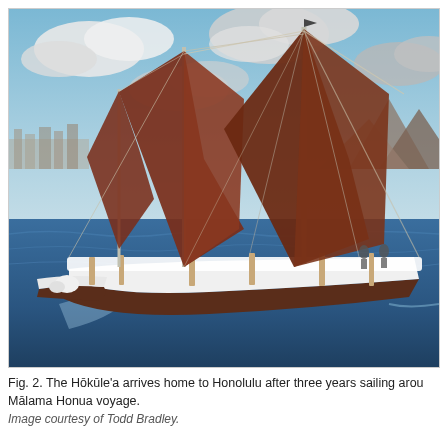[Figure (photo): A traditional Hawaiian double-hulled voyaging canoe (Hōkūle'a) sailing on blue ocean waters. The canoe has two tall masts with large dark reddish-brown crab-claw sails. The hull is white with a dark brown lower section. Several crew members are visible on deck. In the background is a coastline with hills and a partly cloudy blue sky.]
Fig. 2. The Hōkūle'a arrives home to Honolulu after three years sailing around the world on the Mālama Honua voyage.
Image courtesy of Todd Bradley.